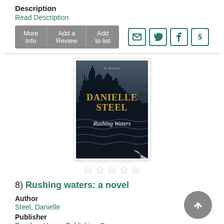Description
Read Description
[Figure (screenshot): Navigation buttons: More Info, Add a Review, Add to list, and social icons for email, Twitter, Facebook, Pinterest]
[Figure (photo): Book cover of 'Rushing Waters' by Danielle Steel — dark city skyline over turbulent water with gold title text]
[Figure (other): Five empty star rating icons]
8) Rushing waters: a novel
Author
Steel, Danielle
Publisher
Random House Publishing Group